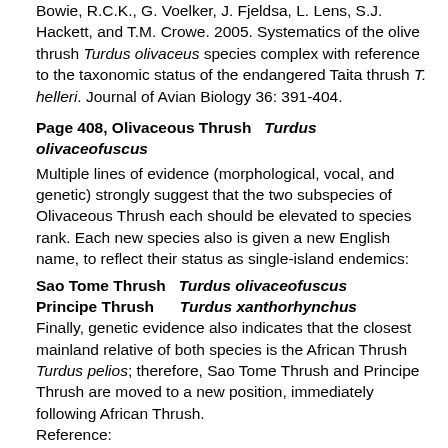Bowie, R.C.K., G. Voelker, J. Fjeldsa, L. Lens, S.J. Hackett, and T.M. Crowe. 2005. Systematics of the olive thrush Turdus olivaceus species complex with reference to the taxonomic status of the endangered Taita thrush T. helleri. Journal of Avian Biology 36: 391-404.
Page 408, Olivaceous Thrush  Turdus olivaceofuscus
Multiple lines of evidence (morphological, vocal, and genetic) strongly suggest that the two subspecies of Olivaceous Thrush each should be elevated to species rank. Each new species also is given a new English name, to reflect their status as single-island endemics:
Sao Tome Thrush  Turdus olivaceofuscus
Principe Thrush    Turdus xanthorhynchus
Finally, genetic evidence also indicates that the closest mainland relative of both species is the African Thrush Turdus pelios; therefore, Sao Tome Thrush and Principe Thrush are moved to a new position, immediately following African Thrush.
Reference:
Melo, M., R.C.K. Bowie, G. Voelker, M. Dallimer, N.J. Collar, and P.J. Jones. 2010. Multiple lines of evidence support the recognition of a very rare bird species: the Príncipe thrush. Journal of Zoology